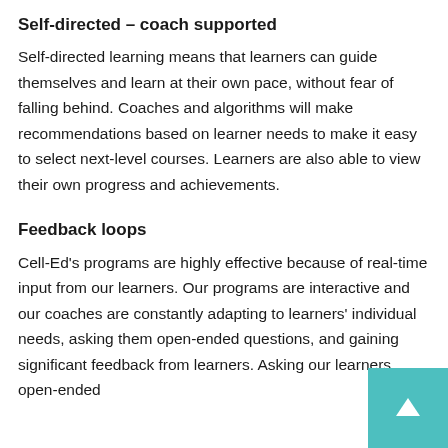Self-directed – coach supported
Self-directed learning means that learners can guide themselves and learn at their own pace, without fear of falling behind. Coaches and algorithms will make recommendations based on learner needs to make it easy to select next-level courses. Learners are also able to view their own progress and achievements.
Feedback loops
Cell-Ed's programs are highly effective because of real-time input from our learners. Our programs are interactive and our coaches are constantly adapting to learners' individual needs, asking them open-ended questions, and gaining significant feedback from learners. Asking our learners open-ended